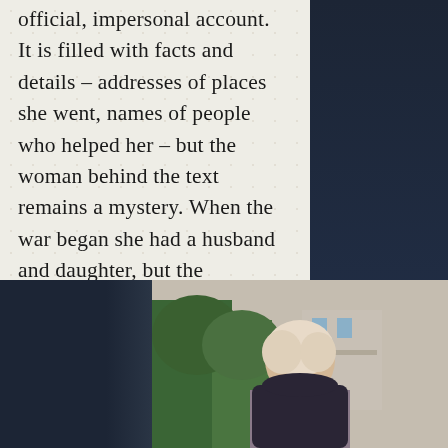official, impersonal account. It is filled with facts and details – addresses of places she went, names of people who helped her – but the woman behind the text remains a mystery. When the war began she had a husband and daughter, but the notetaker's introduction states, "Sama" – She is alone.
[Figure (photo): Partial view of a person with light/blonde hair photographed from behind or side, set against a background with trees and a building, framed within a dark-toned page layout.]